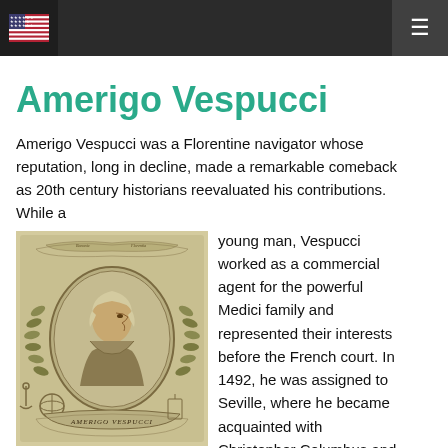[Navigation bar with US flag and hamburger menu]
Amerigo Vespucci
Amerigo Vespucci was a Florentine navigator whose reputation, long in decline, made a remarkable comeback as 20th century historians reevaluated his contributions. While a young man, Vespucci worked as a commercial agent for the powerful Medici family and represented their interests before the French court. In 1492, he was assigned to Seville, where he became acquainted with Christopher Columbus and aided in the preparations
[Figure (illustration): Historical engraved portrait of Amerigo Vespucci in an oval frame decorated with banners, laurel, a globe, and other ornamental elements. The name 'AMERIGO VESPUCCI' appears on a banner below.]